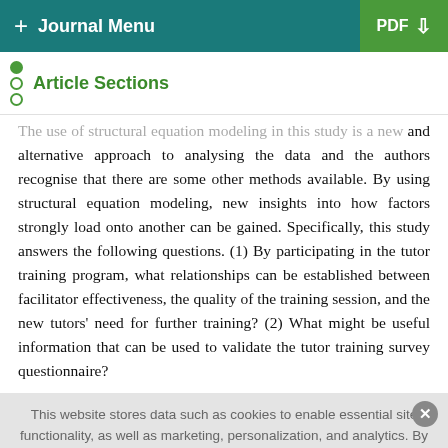+ Journal Menu | PDF
Article Sections
The use of structural equation modeling in this study is a new and alternative approach to analysing the data and the authors recognise that there are some other methods available. By using structural equation modeling, new insights into how factors strongly load onto another can be gained. Specifically, this study answers the following questions. (1) By participating in the tutor training program, what relationships can be established between facilitator effectiveness, the quality of the training session, and the new tutors' need for further training? (2) What might be useful information that can be used to validate the tutor training survey questionnaire?
This website stores data such as cookies to enable essential site functionality, as well as marketing, personalization, and analytics. By remaining on this website you indicate your consent. Cookie Policy